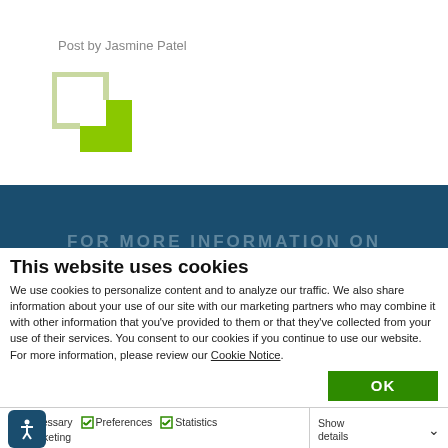Post by Jasmine Patel
[Figure (logo): Two overlapping squares logo, one outlined in light green/gray and one filled with bright green]
[Figure (other): Dark teal banner with text FOR MORE INFORMATION ON partially visible]
This website uses cookies
We use cookies to personalize content and to analyze our traffic. We also share information about your use of our site with our marketing partners who may combine it with other information that you've provided to them or that they've collected from your use of their services. You consent to our cookies if you continue to use our website. For more information, please review our Cookie Notice.